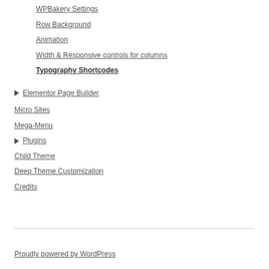WPBakery Settings
Row Background
Animation
Width & Responsive controls for columns
Typography Shortcodes
▶ Elementor Page Builder
Micro Sites
Mega-Menu
▶ Plugins
Child Theme
Deep Theme Customization
Credits
Proudly powered by WordPress